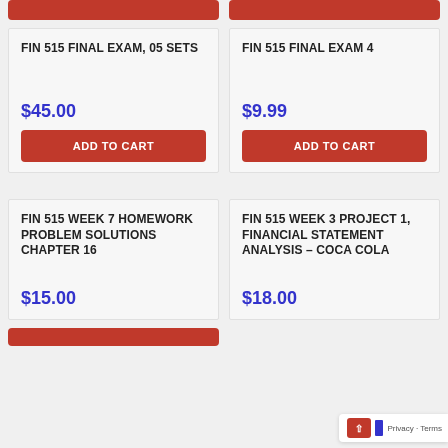FIN 515 FINAL EXAM, 05 SETS
$45.00
FIN 515 FINAL EXAM 4
$9.99
FIN 515 WEEK 7 HOMEWORK PROBLEM SOLUTIONS CHAPTER 16
$15.00
FIN 515 WEEK 3 PROJECT 1, FINANCIAL STATEMENT ANALYSIS – COCA COLA
$18.00